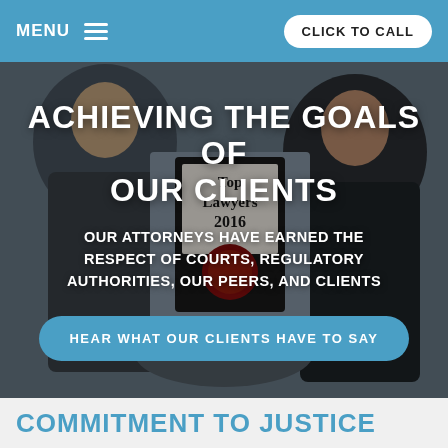MENU  CLICK TO CALL
[Figure (photo): Two men in suits shaking hands in front of a 'Top Lawyers 2016' framed award plaque on a wall. A law firm website hero image.]
ACHIEVING THE GOALS OF OUR CLIENTS
OUR ATTORNEYS HAVE EARNED THE RESPECT OF COURTS, REGULATORY AUTHORITIES, OUR PEERS, AND CLIENTS
HEAR WHAT OUR CLIENTS HAVE TO SAY
COMMITMENT TO JUSTICE